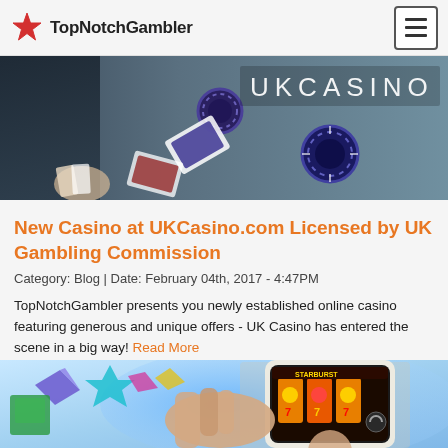TopNotchGambler
[Figure (photo): UK Casino banner photo showing casino chips and playing cards on a table with text 'UKCASINO' overlay]
New Casino at UKCasino.com Licensed by UK Gambling Commission
Category: Blog | Date: February 04th, 2017 - 4:47PM
TopNotchGambler presents you newly established online casino featuring generous and unique offers - UK Casino has entered the scene in a big way! Read More
[Figure (photo): Hand holding a smartphone displaying a slots casino game, with colorful origami/crystal decorations in the background]